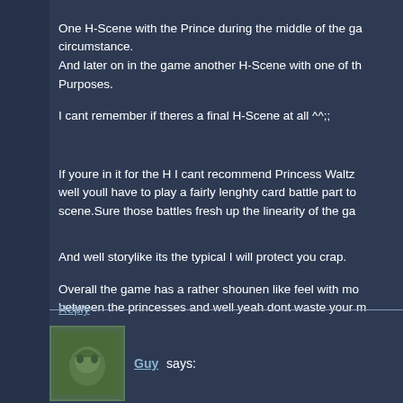One H-Scene with the Prince during the middle of the ga circumstance. And later on in the game another H-Scene with one of th Purposes. I cant remember if theres a final H-Scene at all ^^;;
If youre in it for the H I cant recommend Princess Waltz well youll have to play a fairly lenghty card battle part to scene.Sure those battles fresh up the linearity of the ga
And well storylike its the typical I will protect you crap.
Overall the game has a rather shounen like feel with mo between the princesses and well yeah dont waste your m
Reply
Guy says: